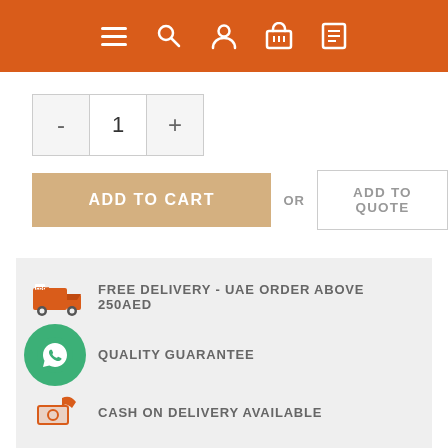Navigation bar with menu, search, user, cart, and list icons
- 1 +
ADD TO CART   OR   ADD TO QUOTE
FREE DELIVERY - UAE ORDER ABOVE 250AED
QUALITY GUARANTEE
CASH ON DELIVERY AVAILABLE
100% SECURE SHOP
Shipping time if items are in stock: UAE: 3 working days | GCC: